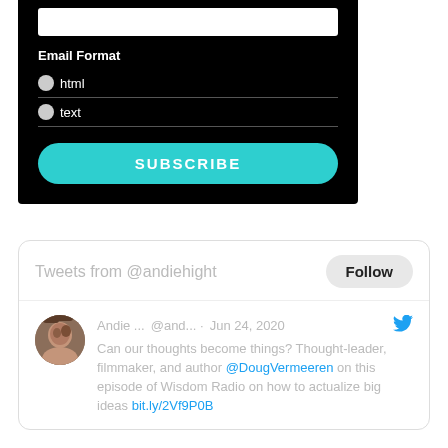Email Format
html
text
SUBSCRIBE
[Figure (screenshot): Twitter widget showing tweets from @andiehight with a Follow button and a tweet by Andie dated Jun 24, 2020 about Doug Vermeeren on Wisdom Radio with a link bit.ly/2Vf9P0B]
Tweets from @andiehight
Andie ... @and... · Jun 24, 2020 Can our thoughts become things? Thought-leader, filmmaker, and author @DougVermeeren on this episode of Wisdom Radio on how to actualize big ideas bit.ly/2Vf9P0B